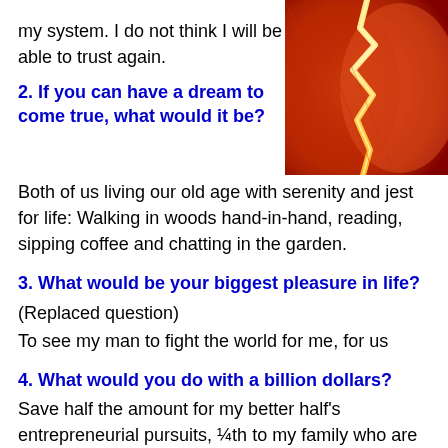my system. I do not think I will be able to trust again.
[Figure (photo): A broken heart image — a red/orange heart split in two with a jagged crack, glowing yellow at the break, on a red-orange background.]
2. If you can have a dream to come true, what would it be?
Both of us living our old age with serenity and jest for life: Walking in woods hand-in-hand, reading, sipping coffee and chatting in the garden.
3. What would be your biggest pleasure in life?
(Replaced question)
To see my man to fight the world for me, for us
4. What would you do with a billion dollars?
Save half the amount for my better half's entrepreneurial pursuits, ¼th to my family who are loathe to have money from me, rest 1/4th to be share between me and my social